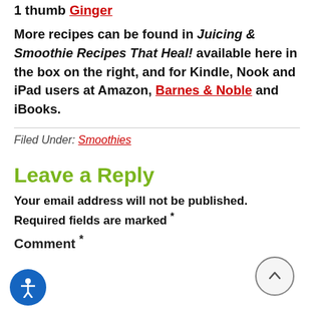1 thumb Ginger
More recipes can be found in Juicing & Smoothie Recipes That Heal! available here in the box on the right, and for Kindle, Nook and iPad users at Amazon, Barnes & Noble and iBooks.
Filed Under: Smoothies
Leave a Reply
Your email address will not be published. Required fields are marked *
Comment *